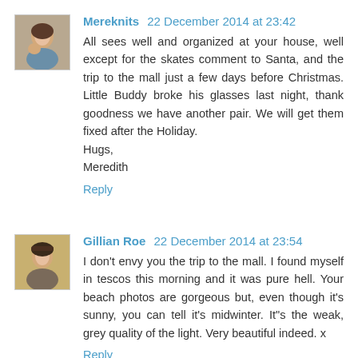[Figure (photo): Avatar photo of Mereknits, a woman with a child]
Mereknits 22 December 2014 at 23:42
All sees well and organized at your house, well except for the skates comment to Santa, and the trip to the mall just a few days before Christmas. Little Buddy broke his glasses last night, thank goodness we have another pair. We will get them fixed after the Holiday.
Hugs,
Meredith
Reply
[Figure (photo): Avatar photo of Gillian Roe, a woman]
Gillian Roe 22 December 2014 at 23:54
I don't envy you the trip to the mall. I found myself in tescos this morning and it was pure hell. Your beach photos are gorgeous but, even though it's sunny, you can tell it's midwinter. It"s the weak, grey quality of the light. Very beautiful indeed. x
Reply